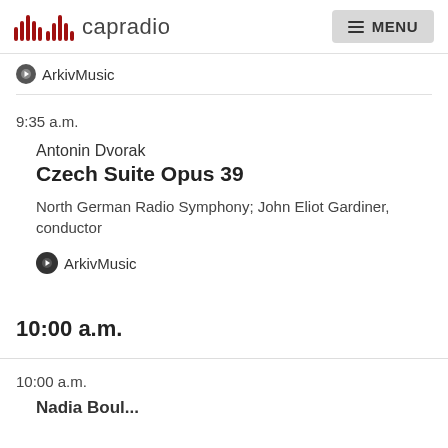capradio | MENU
ArkivMusic
9:35 a.m.
Antonin Dvorak
Czech Suite Opus 39
North German Radio Symphony; John Eliot Gardiner, conductor
ArkivMusic
10:00 a.m.
10:00 a.m.
Nadia...